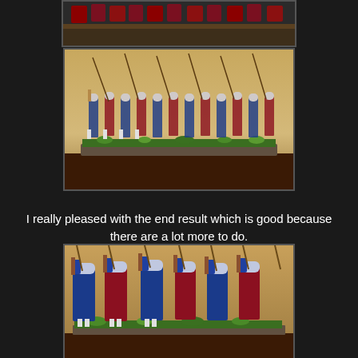[Figure (photo): Top partial photo of painted miniature soldiers on a base, cropped at top]
[Figure (photo): Full view of painted historical wargame miniatures — soldiers in blue and red uniforms with pikes/muskets, mounted on a green grass base, against a warm beige background]
I really pleased with the end result which is good because there are a lot more to do.
[Figure (photo): Close-up view of the same painted historical miniature soldiers in blue and red uniforms carrying pikes, on a green grass base]